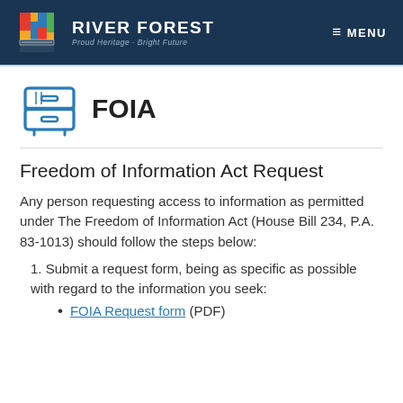RIVER FOREST — Proud Heritage · Bright Future | MENU
FOIA
Freedom of Information Act Request
Any person requesting access to information as permitted under The Freedom of Information Act (House Bill 234, P.A. 83-1013) should follow the steps below:
1. Submit a request form, being as specific as possible with regard to the information you seek:
FOIA Request form (PDF)